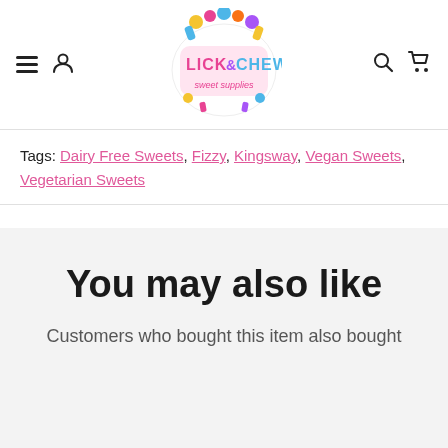Lick & Chew sweet supplies - navigation header with logo, hamburger menu, user icon, search icon, cart icon
Tags: Dairy Free Sweets, Fizzy, Kingsway, Vegan Sweets, Vegetarian Sweets
You may also like
Customers who bought this item also bought